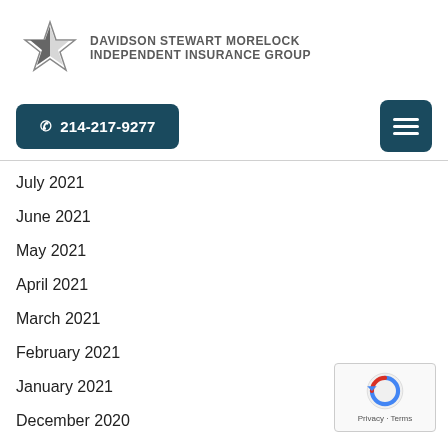[Figure (logo): Davidson Stewart Morelock Independent Insurance Group logo with a star icon and company name text]
☎ 214-217-9277
July 2021
June 2021
May 2021
April 2021
March 2021
February 2021
January 2021
December 2020
November 2020